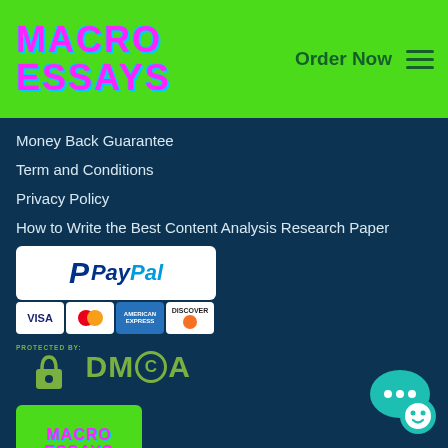[Figure (logo): MacroEssays logo with neon pink and cyan text on green background, with Order Now button and hamburger menu on the right]
Money Back Guarantee
Term and Conditions
Privacy Policy
How to Write the Best Content Analysis Research Paper
[Figure (logo): PayPal payment logo in white rounded rectangle with VISA, MasterCard, American Express, Discover card icons below]
[Figure (logo): DMCA Protected By badge with green padlock and DMCA letters]
[Figure (logo): Small MacroEssays logo on green background in bottom left]
[Figure (other): Teal chat bubble icon in bottom right corner]